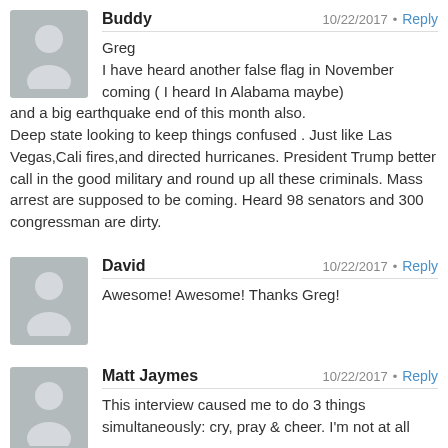Buddy — 10/22/2017 • Reply
Greg
I have heard another false flag in November coming ( I heard In Alabama maybe) and a big earthquake end of this month also. Deep state looking to keep things confused . Just like Las Vegas,Cali fires,and directed hurricanes. President Trump better call in the good military and round up all these criminals. Mass arrest are supposed to be coming. Heard 98 senators and 300 congressman are dirty.
David — 10/22/2017 • Reply
Awesome! Awesome! Thanks Greg!
Matt Jaymes — 10/22/2017 • Reply
This interview caused me to do 3 things simultaneously: cry, pray & cheer. I'm not at all